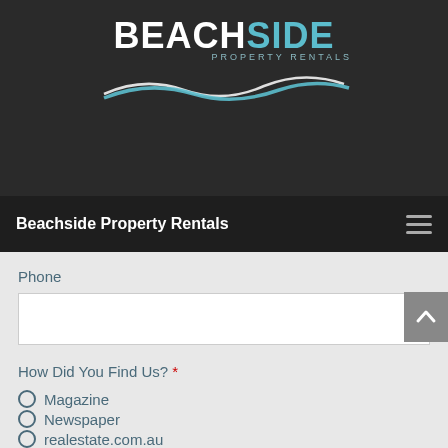[Figure (logo): Beachside Property Rentals logo with BEACHSIDE in large text (white and teal), 'Property Rentals' subtitle, and a wave graphic on dark background]
Beachside Property Rentals
Phone
How Did You Find Us? *
Magazine
Newspaper
realestate.com.au
Referral
Facebook
Instagram
Word of Mouth
other